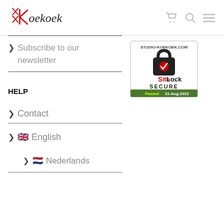Koekoek
> Subscribe to our newsletter
[Figure (logo): SiteLock Secure badge showing STUDIO-KOEKOEK.COM, Passed 31-Aug-2022]
HELP
> Contact
> English
> Nederlands